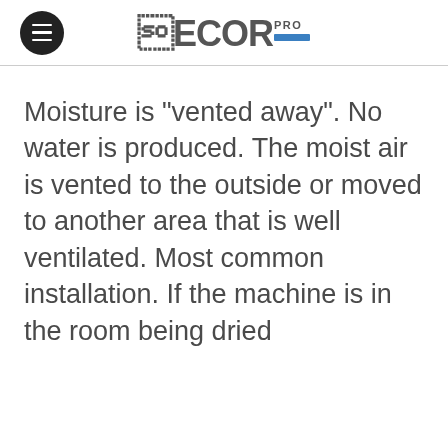ECOR PRO
Moisture is "vented away".  No water is produced.  The moist air is vented to the outside or moved to another area that is well ventilated. Most common installation. If the machine is in the room being dried